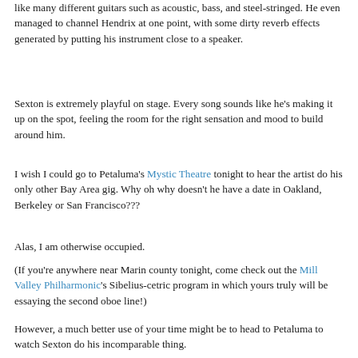like many different guitars such as acoustic, bass, and steel-stringed. He even managed to channel Hendrix at one point, with some dirty reverb effects generated by putting his instrument close to a speaker.
Sexton is extremely playful on stage. Every song sounds like he's making it up on the spot, feeling the room for the right sensation and mood to build around him.
I wish I could go to Petaluma's Mystic Theatre tonight to hear the artist do his only other Bay Area gig. Why oh why doesn't he have a date in Oakland, Berkeley or San Francisco???
Alas, I am otherwise occupied.
(If you're anywhere near Marin county tonight, come check out the Mill Valley Philharmonic's Sibelius-cetric program in which yours truly will be essaying the second oboe line!)
However, a much better use of your time might be to head to Petaluma to watch Sexton do his incomparable thing.